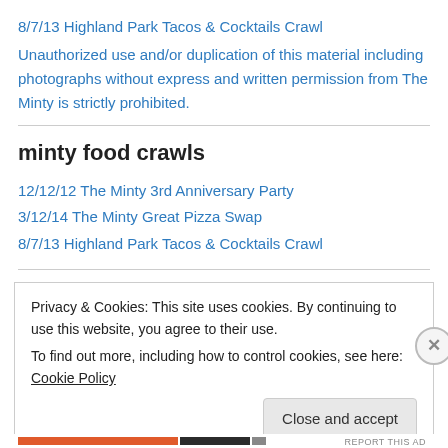8/7/13 Highland Park Tacos & Cocktails Crawl
Unauthorized use and/or duplication of this material including photographs without express and written permission from The Minty is strictly prohibited.
minty food crawls
12/12/12 The Minty 3rd Anniversary Party
3/12/14 The Minty Great Pizza Swap
8/7/13 Highland Park Tacos & Cocktails Crawl
Privacy & Cookies: This site uses cookies. By continuing to use this website, you agree to their use.
To find out more, including how to control cookies, see here: Cookie Policy
Close and accept